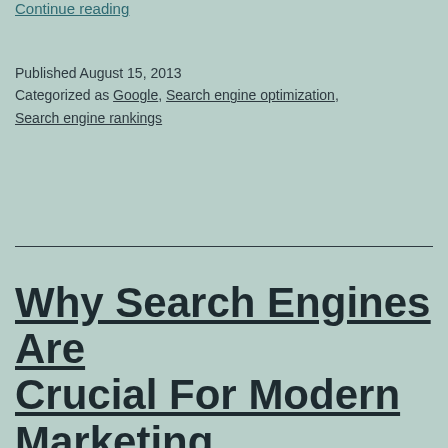Continue reading
Published August 15, 2013
Categorized as Google, Search engine optimization, Search engine rankings
Why Search Engines Are Crucial For Modern Marketing